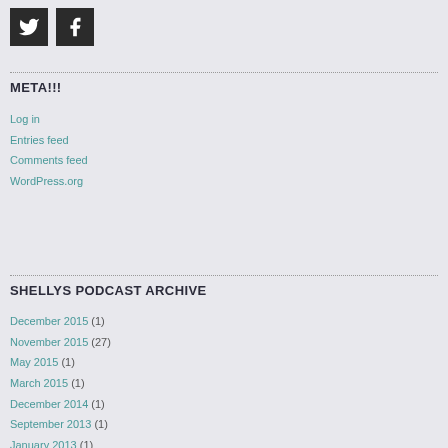[Figure (logo): Twitter and Facebook social media icon buttons (dark square boxes with white bird and F icons)]
META!!!
Log in
Entries feed
Comments feed
WordPress.org
SHELLYS PODCAST ARCHIVE
December 2015 (1)
November 2015 (27)
May 2015 (1)
March 2015 (1)
December 2014 (1)
September 2013 (1)
January 2013 (1)
May 2012 (1)
January 2012 (1)